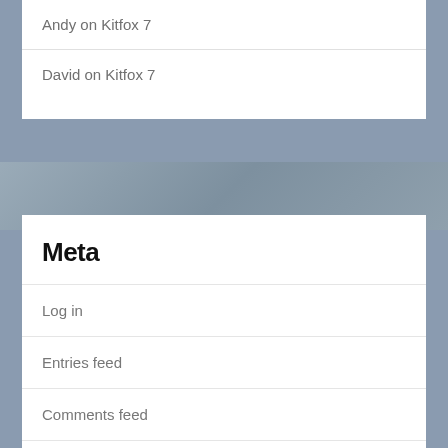Andy on Kitfox 7
David on Kitfox 7
Meta
Log in
Entries feed
Comments feed
WordPress.org
Search this site